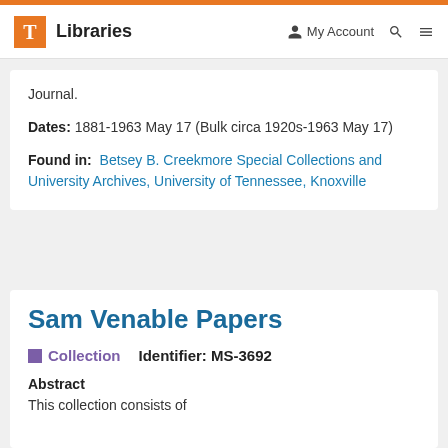T Libraries | My Account | Search | Menu
Journal.
Dates: 1881-1963 May 17 (Bulk circa 1920s-1963 May 17)
Found in: Betsey B. Creekmore Special Collections and University Archives, University of Tennessee, Knoxville
Sam Venable Papers
Collection  Identifier: MS-3692
Abstract
This collection consists of